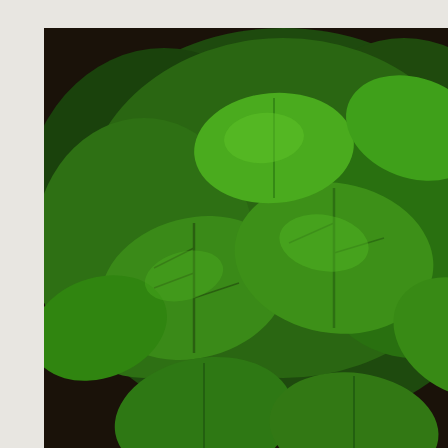[Figure (photo): Photograph of lush green Genovese basil plants with large shiny leaves growing densely together, with some soil and other garden plants visible in the background.]
Ocimum Basilicum (Genovese Basil) Seeds
$1.49
Select options